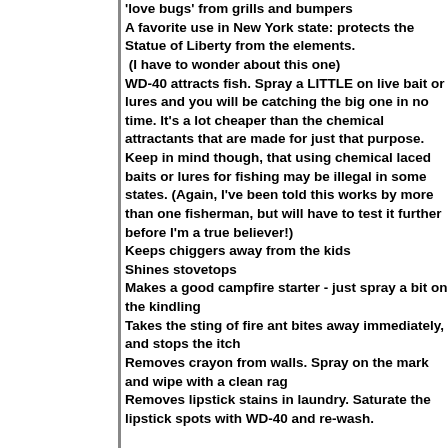'love bugs' from grills and bumpers A favorite use in New York state: protects the Statue of Liberty from the elements. (I have to wonder about this one) WD-40 attracts fish. Spray a LITTLE on live bait or lures and you will be catching the big one in no time. It's a lot cheaper than the chemical attractants that are made for just that purpose. Keep in mind though, that using chemical laced baits or lures for fishing may be illegal in some states. (Again, I've been told this works by more than one fisherman, but will have to test it further before I'm a true believer!) Keeps chiggers away from the kids Shines stovetops Makes a good campfire starter - just spray a bit on the kindling Takes the sting of fire ant bites away immediately, and stops the itch Removes crayon from walls. Spray on the mark and wipe with a clean rag Removes lipstick stains in laundry. Saturate the lipstick spots with WD-40 and re-wash.